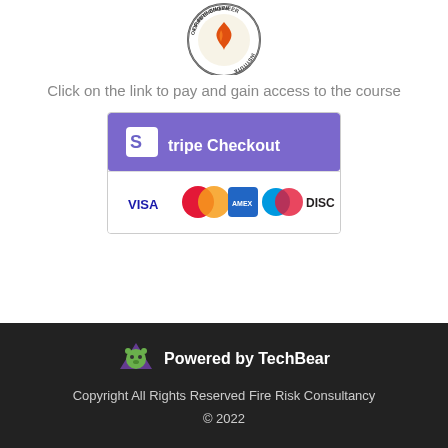[Figure (logo): Circular badge logo for Fire Engineer with orange/red flame design and text around the edge]
Click on the link to pay and gain access to the course
[Figure (other): Stripe Checkout payment button showing VISA, MasterCard, American Express, Maestro, and Discover card logos]
Powered by TechBear
Copyright All Rights Reserved Fire Risk Consultancy
© 2022